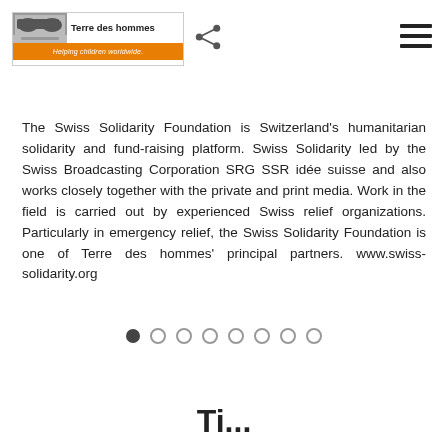[Figure (logo): Terre des hommes logo with eyes image, text 'Terre des hommes' and orange banner 'Helping children worldwide.']
[Figure (other): Share icon (three connected dots)]
[Figure (other): Hamburger menu icon (three horizontal lines)]
The Swiss Solidarity Foundation is Switzerland's humanitarian solidarity and fund-raising platform. Swiss Solidarity led by the Swiss Broadcasting Corporation SRG SSR idée suisse and also works closely together with the private and print media. Work in the field is carried out by experienced Swiss relief organizations. Particularly in emergency relief, the Swiss Solidarity Foundation is one of Terre des hommes' principal partners. www.swiss-solidarity.org
[Figure (other): Pagination dots: 8 dots, first filled dark, rest outlined]
Ti...